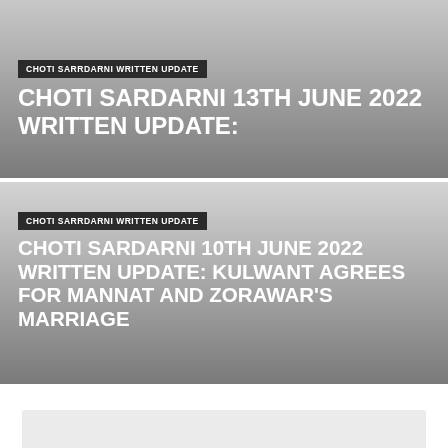CHOTI SARRDARNI WRITTEN UPDATE
CHOTI SARDARNI 13TH JUNE 2022 WRITTEN UPDATE:
CHOTI SARRDARNI WRITTEN UPDATE
CHOTI SARDARNI 10TH JUNE 2022 WRITTEN UPDATE: KULWANT AGREES FOR MANNAT AND ZORAWAR'S MARRIAGE